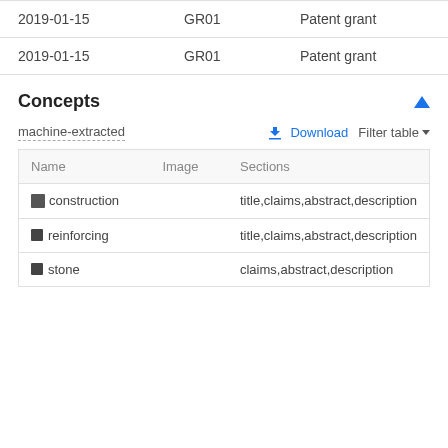| Date | Code | Description |
| --- | --- | --- |
| 2019-01-15 | GR01 | Patent grant |
| 2019-01-15 | GR01 | Patent grant |
Concepts
machine-extracted
| Name | Image | Sections |
| --- | --- | --- |
| construction |  | title,claims,abstract,description |
| reinforcing |  | title,claims,abstract,description |
| stone |  | claims,abstract,description |